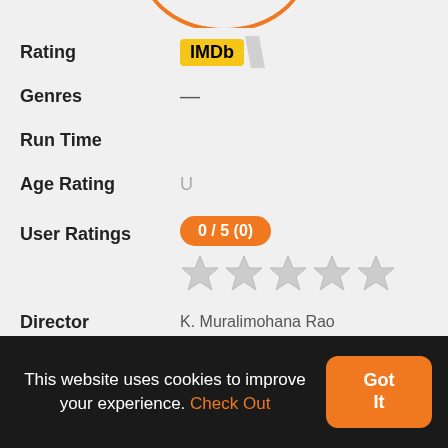[Figure (other): Partial orange arc/circle at top center]
| Rating | IMDb |
| Genres | — |
| Run Time |  |
| Age Rating | U |
| User Ratings | 0 / 5 (0) |
| Director | K. Muralimohana Rao |
| Name | Release Date |
| 6 May 1989 | Language |
This website uses cookies to improve your experience. Check Out
Got It